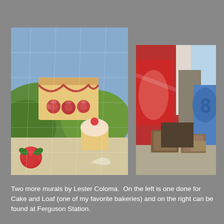[Figure (photo): Left photo: A colorful mural on a brick wall depicting a large decorated cake with roses, cupcakes, and green landscape elements. Painted by Lester Coloma for Cake and Loaf bakery.]
[Figure (photo): Right photo: A mural on a building exterior showing red painted panels, a blue artistic element on the right, and dumpsters in front of the building. Located at Ferguson Station.]
Two more murals by Lester Coloma.  On the left is one done for Cake and Loaf (one of my favorite bakeries) and on the right can be found at Ferguson Station.